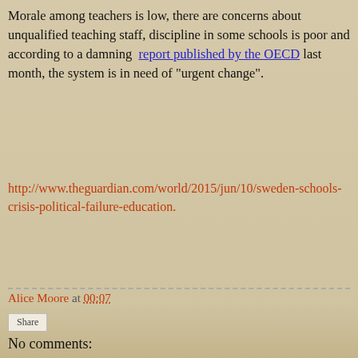Morale among teachers is low, there are concerns about unqualified teaching staff, discipline in some schools is poor and according to a damning report published by the OECD last month, the system is in need of "urgent change".
http://www.theguardian.com/world/2015/jun/10/sweden-schools-crisis-political-failure-education.
Alice Moore at 00:07
Share
No comments:
Post a Comment